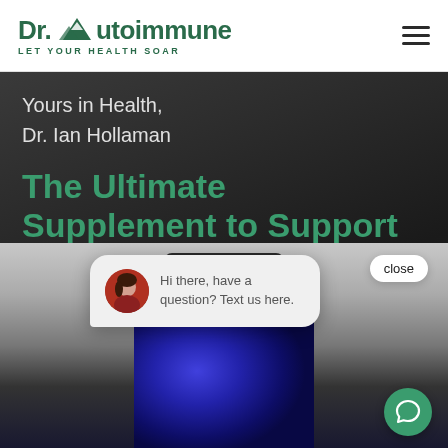[Figure (logo): Dr. Autoimmune logo with mountain/peak icon and tagline 'LET YOUR HEALTH SOAR' in green]
Yours in Health,
Dr. Ian Hollaman
The Ultimate Supplement to Support Your T-reg C...
[Figure (photo): Blue supplement bottle with black cap photographed close-up from above]
[Figure (screenshot): Chat popup widget with avatar of a woman and text: Hi there, have a question? Text us here. With a close button and green chat icon.]